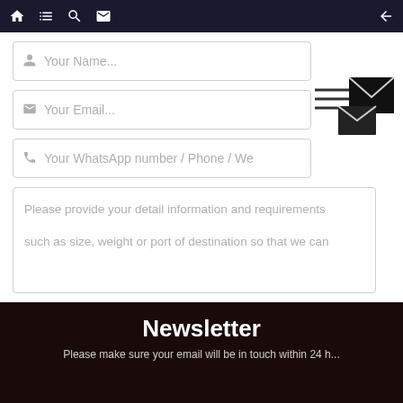Navigation bar with home, list, search, message icons and back arrow
Your Name...
Your Email...
Your WhatsApp number / Phone /  We
Please provide your detail information and requirements

such as size, weight or port of destination so that we can
SEND INQUIRY
Newsletter
Please make sure your email will be in touch within 24 h...